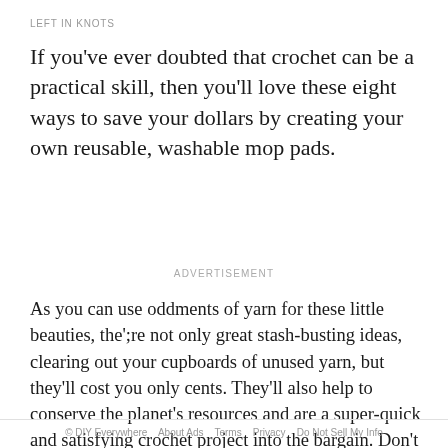LEFT IN KNOTS
If you've ever doubted that crochet can be a practical skill, then you'll love these eight ways to save your dollars by creating your own reusable, washable mop pads.
ADVERTISEMENT
As you can use oddments of yarn for these little beauties, the';re not only great stash-busting ideas, clearing out your cupboards of unused yarn, but they'll cost you only cents. They'll also help to conserve the planet's resources and are a super-quick and satisfying crochet project into the bargain. Don't forget to pick an easy-care, wash-friendly yarn that won't shrink — cotton or acrylic-polyester mixes are perfect.
© DIY Everywhere   About Ads   Terms   Privacy   Do Not Sell My Info